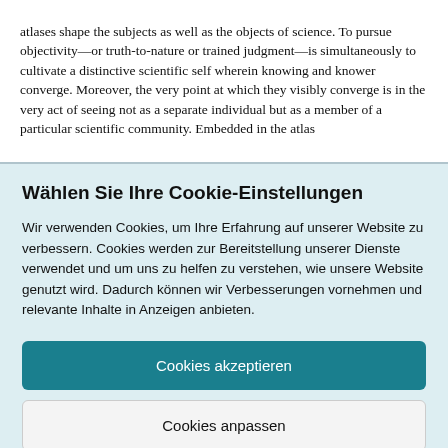atlases shape the subjects as well as the objects of science. To pursue objectivity&mdash;or truth-to-nature or trained judgment&mdash;is simultaneously to cultivate a distinctive scientific self wherein knowing and knower converge. Moreover, the very point at which they visibly converge is in the very act of seeing not as a separate individual but as a member of a particular scientific community. Embedded in the atlas
Wählen Sie Ihre Cookie-Einstellungen
Wir verwenden Cookies, um Ihre Erfahrung auf unserer Website zu verbessern. Cookies werden zur Bereitstellung unserer Dienste verwendet und um uns zu helfen zu verstehen, wie unsere Website genutzt wird. Dadurch können wir Verbesserungen vornehmen und relevante Inhalte in Anzeigen anbieten.
Cookies akzeptieren
Cookies anpassen